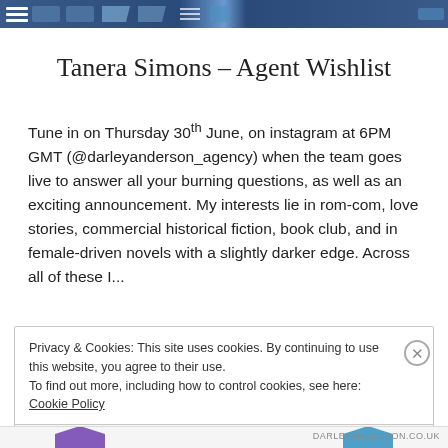Tanera Simons – Agent Wishlist
Tune in on Thursday 30th June, on instagram at 6PM GMT (@darleyanderson_agency) when the team goes live to answer all your burning questions, as well as an exciting announcement. My interests lie in rom-com, love stories, commercial historical fiction, book club, and in female-driven novels with a slightly darker edge. Across all of these I...
Privacy & Cookies: This site uses cookies. By continuing to use this website, you agree to their use.
To find out more, including how to control cookies, see here: Cookie Policy
Close and accept